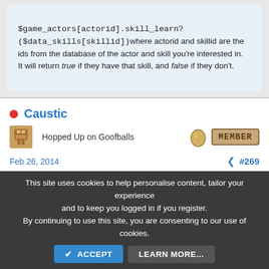$game_actors[actorid].skill_learn?($data_skills[skillid])where actorid and skillid are the ids from the database of the actor and skill you're interested in. It will return true if they have that skill, and false if they don't.
Caustic
Hopped Up on Goofballs
Feb 26, 2014
#269
This site uses cookies to help personalise content, tailor your experience and to keep you logged in if you register. By continuing to use this site, you are consenting to our use of cookies.